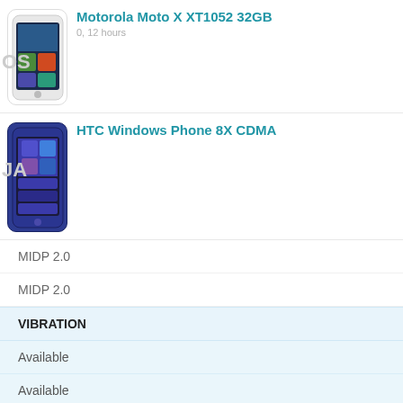[Figure (photo): Motorola Moto X XT1052 32GB phone image]
Motorola Moto X XT1052 32GB
[Figure (photo): HTC Windows Phone 8X CDMA phone image]
HTC Windows Phone 8X CDMA
MIDP 2.0
MIDP 2.0
VIBRATION
Available
Available
RINGTONE
Polyphonic
HARDWARE
CHIPSET
Qualcomm MSM8960 Snapdragon S4
PROCESSOR